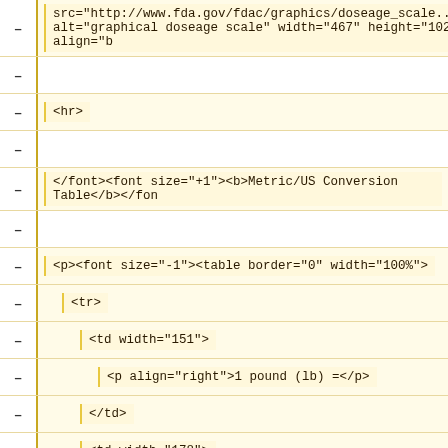src="http://www.fda.gov/fdac/graphics/doseage_scale..." alt="graphical doseage scale" width="467" height="102" align="b
<hr>
</font><font size="+1"><b>Metric/US Conversion Table</b></font
<p><font size="-1"><table border="0" width="100%">
<tr>
<td width="151">
<p align="right">1 pound (lb) =</p>
</td>
<td width="178">
<p>0.4536 kilogram (kg)</p>
</td>
<td width="53">